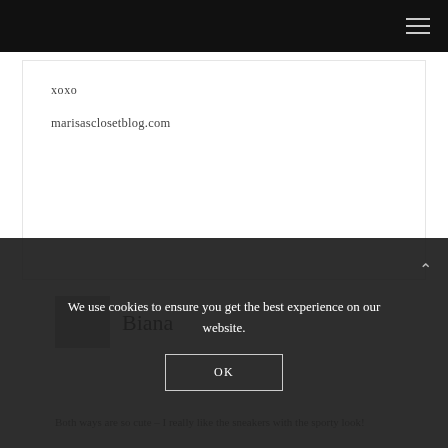xoxo
marisasclosetblog.com
Biana
Both ways are so cute – I really like the sneakers with the sporty look!
We use cookies to ensure you get the best experience on our website.
OK